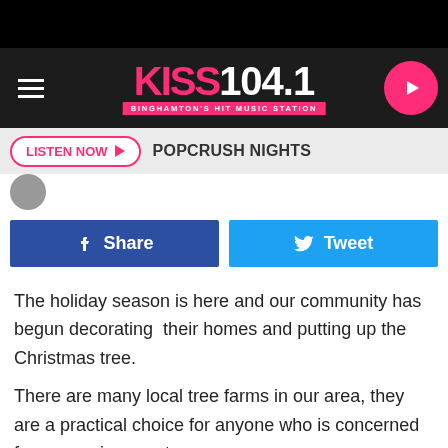[Figure (logo): KISS 104.1 Binghamton's Hit Music Station logo with hamburger menu and play button]
LISTEN NOW ▶  POPCRUSH NIGHTS
[Figure (screenshot): Avatar/profile image thumbnail]
[Figure (infographic): Share and Tweet social buttons]
The holiday season is here and our community has begun decorating  their homes and putting up the Christmas tree.
There are many local tree farms in our area, they are a practical choice for anyone who is concerned for our environment.
[Figure (infographic): KISS 104.1 app promo banner: GET OUR FREE MOBILE APP]